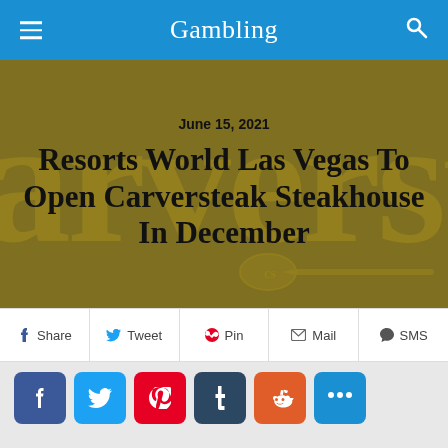Gambling
[Figure (photo): Gold/olive colored background with large decorative Carversteak text and knife graphic. Overlaid with article date and headline.]
June 15, 2021
Resorts World Las Vegas To Open Carversteak Steakhouse In December
Share  Tweet  Pin  Mail  SMS
[Figure (infographic): Social media share buttons: Facebook, Twitter, Pinterest, Tumblr, Reddit, More]
Carver Road Hospitality will introduce Carversteak at Resorts World Las Vegas this December, the hospitality company's first